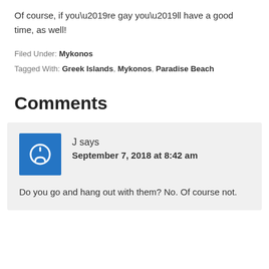Of course, if you’re gay you’ll have a good time, as well!
Filed Under: Mykonos
Tagged With: Greek Islands, Mykonos, Paradise Beach
Comments
J says September 7, 2018 at 8:42 am
Do you go and hang out with them? No. Of course not.